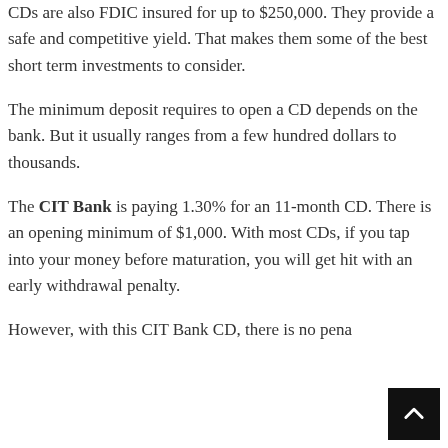CDs are also FDIC insured for up to $250,000. They provide a safe and competitive yield. That makes them some of the best short term investments to consider.
The minimum deposit requires to open a CD depends on the bank. But it usually ranges from a few hundred dollars to thousands.
The CIT Bank is paying 1.30% for an 11-month CD. There is an opening minimum of $1,000. With most CDs, if you tap into your money before maturation, you will get hit with an early withdrawal penalty.
However, with this CIT Bank CD, there is no pena...